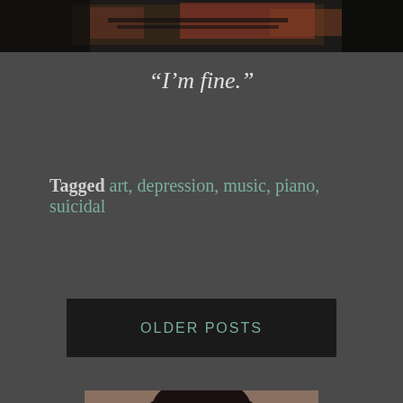[Figure (photo): Partial view of a person at a piano, cropped at top of page]
“I’m fine.”
Tagged art, depression, music, piano, suicidal
OLDER POSTS
[Figure (photo): Portrait of a person with curly dark hair against a brown background, partially visible at bottom of page]